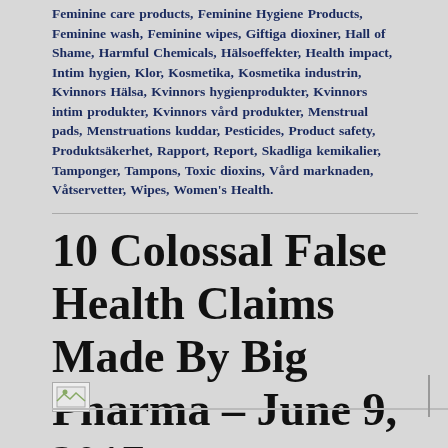Feminine care products, Feminine Hygiene Products, Feminine wash, Feminine wipes, Giftiga dioxiner, Hall of Shame, Harmful Chemicals, Hälsoeffekter, Health impact, Intim hygien, Klor, Kosmetika, Kosmetika industrin, Kvinnors Hälsa, Kvinnors hygienprodukter, Kvinnors intim produkter, Kvinnors vård produkter, Menstrual pads, Menstruations kuddar, Pesticides, Product safety, Produktsäkerhet, Rapport, Report, Skadliga kemikalier, Tamponger, Tampons, Toxic dioxins, Vård marknaden, Våtservetter, Wipes, Women's Health.
10 Colossal False Health Claims Made By Big Pharma – June 9, 2017
[Figure (other): Small broken/placeholder image icon]